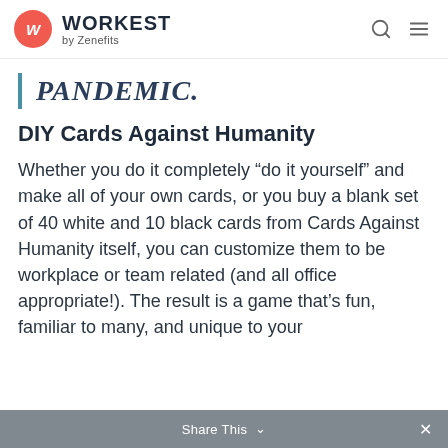WORKEST by Zenefits
PANDEMIC.
DIY Cards Against Humanity
Whether you do it completely “do it yourself” and make all of your own cards, or you buy a blank set of 40 white and 10 black cards from Cards Against Humanity itself, you can customize them to be workplace or team related (and all office appropriate!). The result is a game that’s fun, familiar to many, and unique to your
Share This ✕